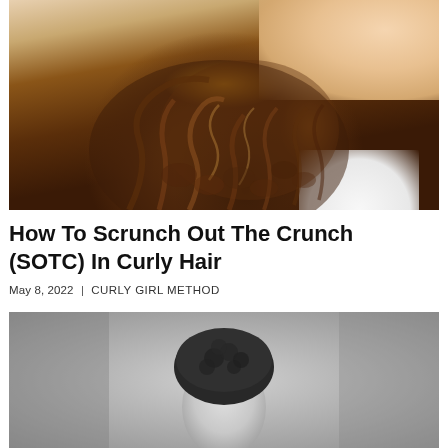[Figure (photo): Woman with long, voluminous brown curly hair, wearing a white top, shown against a light background. She is holding her hair and looking over her shoulder.]
How To Scrunch Out The Crunch (SOTC) In Curly Hair
May 8, 2022 | CURLY GIRL METHOD
[Figure (photo): Grayscale portrait of a person with short curly/coily dark hair, facing forward, against a light grey background.]